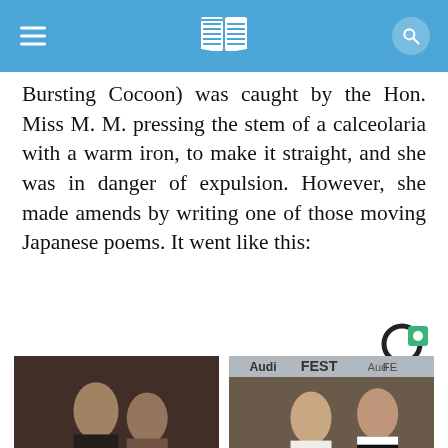Bursting Cocoon) was caught by the Hon. Miss M. M. pressing the stem of a calceolaria with a warm iron, to make it straight, and she was in danger of expulsion. However, she made amends by writing one of those moving Japanese poems. It went like this:
[Figure (photo): Photo of two actors in a romantic scene, man and woman close together]
20 Actors Who Didn't Want to Kiss Their Co-stars (But Had
[Figure (photo): Photo of a woman in white dress and man in black tuxedo at an AFI Fest event]
25+ Female Celebrities Who Dated Younger Men